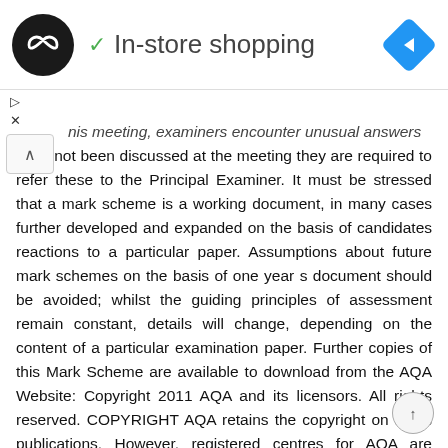In-store shopping
this meeting, examiners encounter unusual answers have not been discussed at the meeting they are required to refer these to the Principal Examiner. It must be stressed that a mark scheme is a working document, in many cases further developed and expanded on the basis of candidates reactions to a particular paper. Assumptions about future mark schemes on the basis of one year s document should be avoided; whilst the guiding principles of assessment remain constant, details will change, depending on the content of a particular examination paper. Further copies of this Mark Scheme are available to download from the AQA Website: Copyright 2011 AQA and its licensors. All rights reserved. COPYRIGHT AQA retains the copyright on all its publications. However, registered centres for AQA are permitted to copy material from this booklet for their own internal use, with the following important exception: AQA cannot give permission to centres to photocopy any material that is acknowledged to